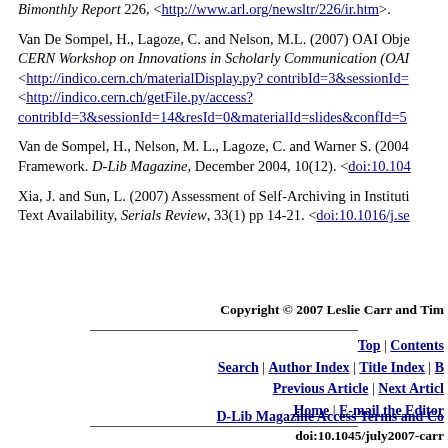Bimonthly Report 226, <http://www.arl.org/newsltr/226/ir.htm>.
Van De Sompel, H., Lagoze, C. and Nelson, M.L. (2007) OAI Object Reuse and Exchange. CERN Workshop on Innovations in Scholarly Communication (OAI5), Geneva. <http://indico.cern.ch/materialDisplay.py?contribId=3&sessionId=> <http://indico.cern.ch/getFile.py/access?contribId=3&sessionId=14&resId=0&materialId=slides&confId=5>
Van de Sompel, H., Nelson, M. L., Lagoze, C. and Warner S. (2004) Resource Harvesting within the OAI-PMH Framework. D-Lib Magazine, December 2004, 10(12). <doi:10.1045/>
Xia, J. and Sun, L. (2007) Assessment of Self-Archiving in Institutional Repositories: Deposit and Text Availability, Serials Review, 33(1) pp 14-21. <doi:10.1016/j.se>
Copyright © 2007 Leslie Carr and Tim
Top | Contents
Search | Author Index | Title Index | B...
Previous Article | Next Article
Home | E-mail the Editor
D-Lib Magazine Access Terms and Co...
doi:10.1045/july2007-carr